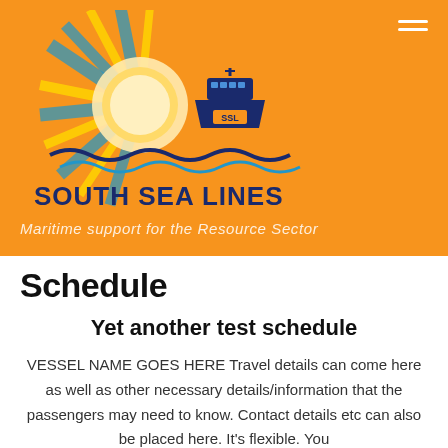[Figure (logo): South Sea Lines logo with ship, sea waves, sunburst in blue, orange and yellow colors. Text reads SOUTH SEA LINES.]
Maritime support for the Resource Sector
Schedule
Yet another test schedule
VESSEL NAME GOES HERE Travel details can come here as well as other necessary details/information that the passengers may need to know. Contact details etc can also be placed here. It's flexible. You